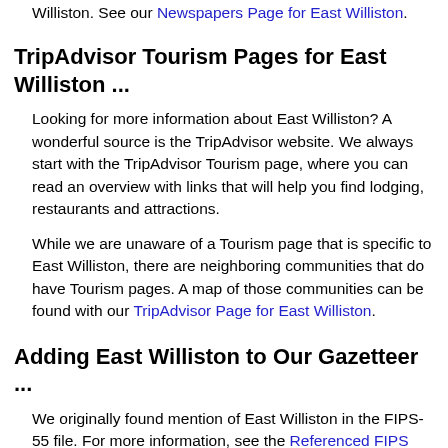Williston. See our Newspapers Page for East Williston.
TripAdvisor Tourism Pages for East Williston ...
Looking for more information about East Williston? A wonderful source is the TripAdvisor website. We always start with the TripAdvisor Tourism page, where you can read an overview with links that will help you find lodging, restaurants and attractions.
While we are unaware of a Tourism page that is specific to East Williston, there are neighboring communities that do have Tourism pages. A map of those communities can be found with our TripAdvisor Page for East Williston.
Adding East Williston to Our Gazetteer ...
We originally found mention of East Williston in the FIPS-55 file. For more information, see the Referenced FIPS Codes section on our Miscellaneous Page.